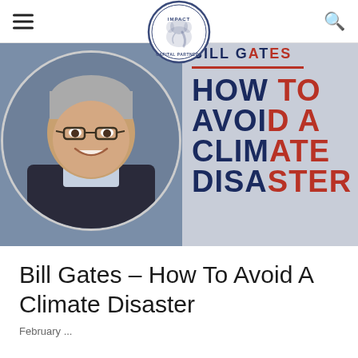Impact Capital Partners – navigation bar with logo
[Figure (photo): Book cover image showing Bill Gates smiling on the left side and the book title 'How To Avoid A Climate Disaster' by Bill Gates on the right side with dark navy and red text on grey background]
Bill Gates – How To Avoid A Climate Disaster
February ...